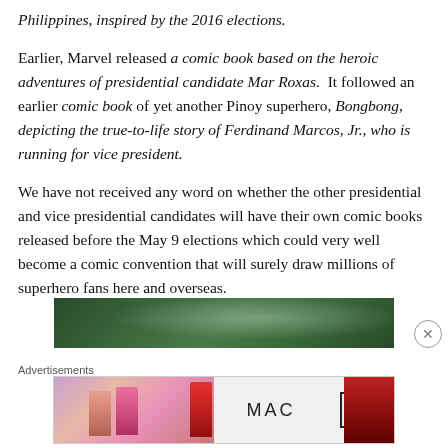Philippines, inspired by the 2016 elections.
Earlier, Marvel released a comic book based on the heroic adventures of presidential candidate Mar Roxas. It followed an earlier comic book of yet another Pinoy superhero, Bongbong, depicting the true-to-life story of Ferdinand Marcos, Jr., who is running for vice president.
We have not received any word on whether the other presidential and vice presidential candidates will have their own comic books released before the May 9 elections which could very well become a comic convention that will surely draw millions of superhero fans here and overseas.
[Figure (photo): Partial image of what appears to be an outdoor scene with green/dark foliage]
Advertisements
[Figure (photo): MAC cosmetics advertisement showing lipsticks in purple, pink, and red shades next to MAC logo and SHOP NOW button]